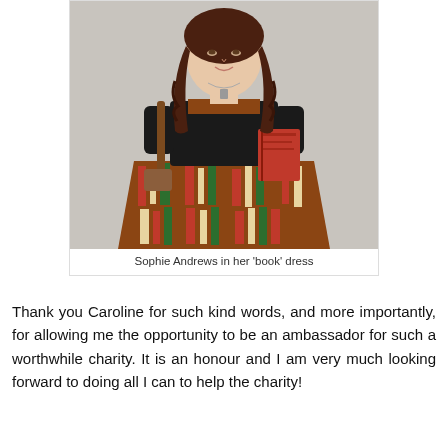[Figure (photo): A young woman with long brown wavy hair wearing a black cardigan over a colorful dress printed with books, holding a red book under one arm and a brown leather bag strap in the other hand. She wears a necklace and poses against a light grey background.]
Sophie Andrews in her 'book' dress
Thank you Caroline for such kind words, and more importantly, for allowing me the opportunity to be an ambassador for such a worthwhile charity. It is an honour and I am very much looking forward to doing all I can to help the charity!